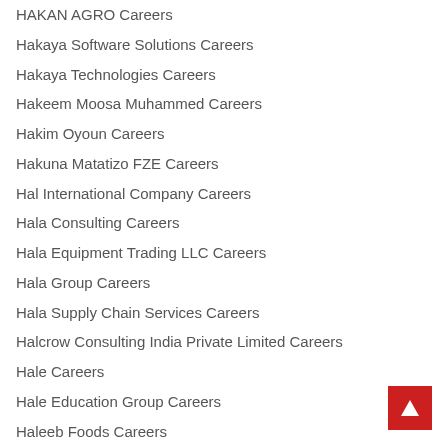HAKAN AGRO Careers
Hakaya Software Solutions Careers
Hakaya Technologies Careers
Hakeem Moosa Muhammed Careers
Hakim Oyoun Careers
Hakuna Matatizo FZE Careers
Hal International Company Careers
Hala Consulting Careers
Hala Equipment Trading LLC Careers
Hala Group Careers
Hala Supply Chain Services Careers
Halcrow Consulting India Private Limited Careers
Hale Careers
Hale Education Group Careers
Haleeb Foods Careers